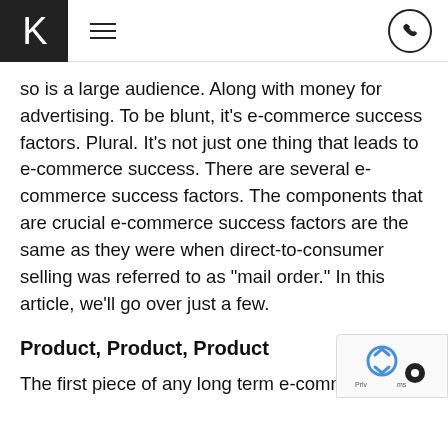K [logo] [hamburger menu] [phone button]
so is a large audience. Along with money for advertising. To be blunt, it’s e-commerce success factors. Plural. It’s not just one thing that leads to e-commerce success. There are several e-commerce success factors. The components that are crucial e-commerce success factors are the same as they were when direct-to-consumer selling was referred to as “mail order.” In this article, we’ll go over just a few.
Product, Product, Product
The first piece of any long term e-commerce